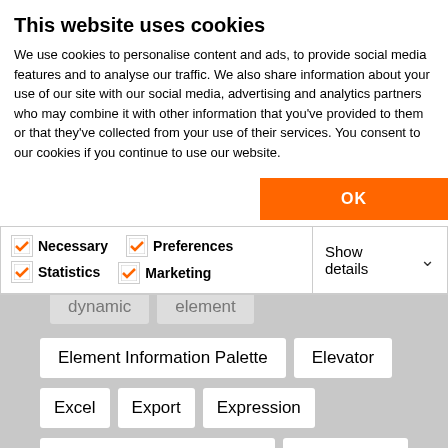This website uses cookies
We use cookies to personalise content and ads, to provide social media features and to analyse our traffic. We also share information about your use of our site with our social media, advertising and analytics partners who may combine it with other information that you've provided to them or that they've collected from your use of their services. You consent to our cookies if you continue to use our website.
OK
Necessary   Preferences   Statistics   Marketing   Show details
dynamic   element
Element Information Palette   Elevator
Excel   Export   Expression
Expression Based Properties   Expressions
FBX   Files   Fill   Find & Select